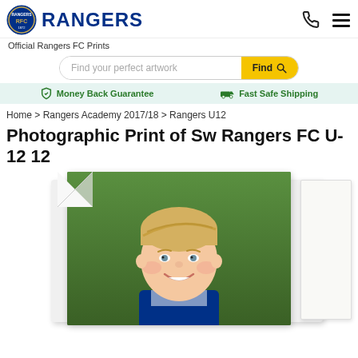RANGERS — Official Rangers FC Prints
Find your perfect artwork  Find
✓ Money Back Guarantee   🚚 Fast Safe Shipping
Home > Rangers Academy 2017/18 > Rangers U12
Photographic Print of Sw Rangers FC U-12 12
[Figure (photo): Portrait photo of a young blonde boy in Rangers FC blue kit, smiling, against green grass background, displayed as a photographic print mockup with curled corner effect]